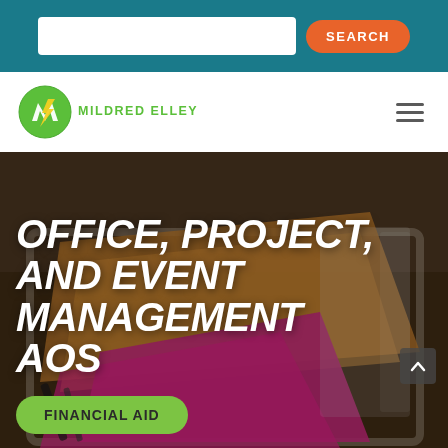SEARCH
[Figure (logo): Mildred Elley college logo — green circle with stylized letter M and lightning bolt, with text MILDRED ELLEY below]
[Figure (photo): Close-up photo of a plastic storage bin/tray containing orange/brown manila folders and bright pink/magenta papers or folders, with writing tools visible. Blurred background office setting.]
OFFICE, PROJECT, AND EVENT MANAGEMENT AOS
FINANCIAL AID